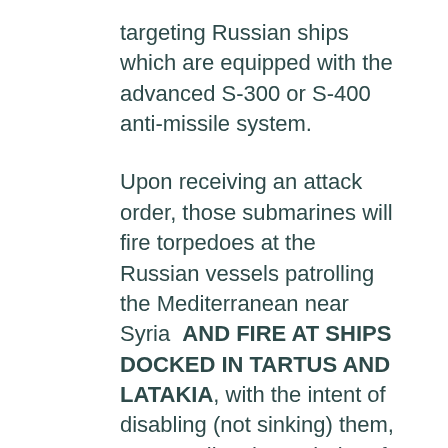targeting Russian ships which are equipped with the advanced S-300 or S-400 anti-missile system.
Upon receiving an attack order, those submarines will fire torpedoes at the Russian vessels patrolling the Mediterranean near Syria  AND FIRE AT SHIPS DOCKED IN TARTUS AND LATAKIA, with the intent of disabling (not sinking) them, to neutralize the anti-aircraft capabilities of those ships.
Since the Turks, Saudis and other nations in the “Arab Coalition against